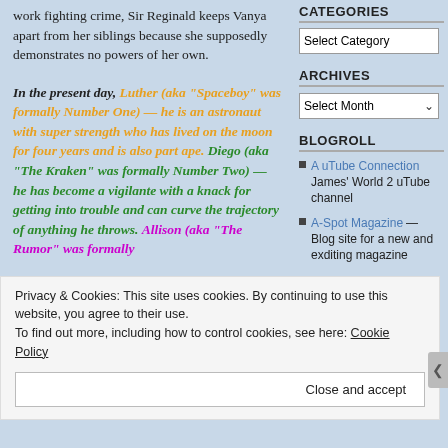work fighting crime, Sir Reginald keeps Vanya apart from her siblings because she supposedly demonstrates no powers of her own.
In the present day, Luther (aka “Spaceboy” was formally Number One) — he is an astronaut with super strength who has lived on the moon for four years and is also part ape.  Diego (aka “The Kraken” was formally Number Two) — he has become a vigilante with a knack for getting into trouble and can curve the trajectory of anything he throws. Allison (aka “The Rumor” was formally
CATEGORIES
Select Category
ARCHIVES
Select Month
BLOGROLL
A uTube Connection — James' World 2 uTube channel
A-Spot Magazine — Blog site for a new and exditing magazine
Privacy & Cookies: This site uses cookies. By continuing to use this website, you agree to their use. To find out more, including how to control cookies, see here: Cookie Policy
Close and accept